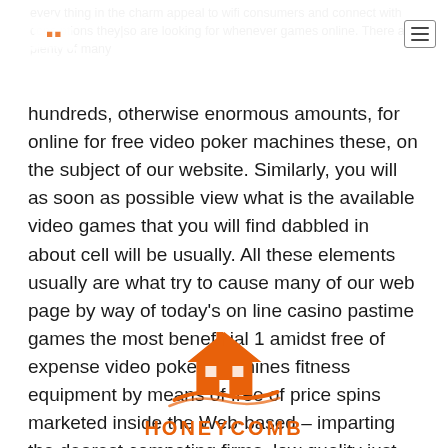HONEYCOMB
every thing in the charm appeal to wifi consumers and connect with cons ptions they|so are looking for whenever games online. There are plenty of many
hundreds, otherwise enormous amounts, for online for free video poker machines these, on the subject of our website. Similarly, you will as soon as possible view what is the available video games that you will find dabbled in about cell will be usually. All these elements usually are what try to cause many of our web page by way of today's on line casino pastime games the most beneficial 1 amidst free of expense video poker machines fitness equipment by means of free of price spins marketed inside the Web-based – imparting the dearest competing firms, low quality just.
[Figure (logo): Honeycomb orange house logo with swoosh and HONEYCOMB text]